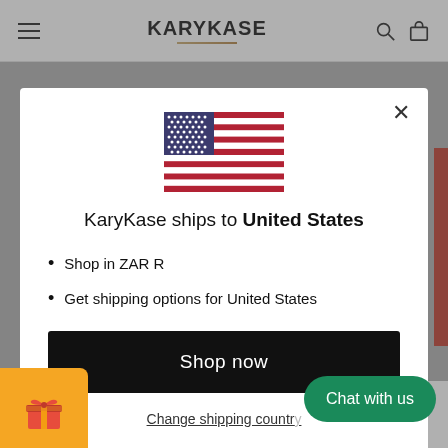KARYKASE
[Figure (screenshot): Modal dialog showing US flag, shipping info for United States, Shop now button, and Change shipping country link]
KaryKase ships to United States
Shop in ZAR R
Get shipping options for United States
Shop now
Change shipping country
Chat with us
We supply premium, high quality bags, luggage and accessories. We are an online store operating from South Africa. We pride